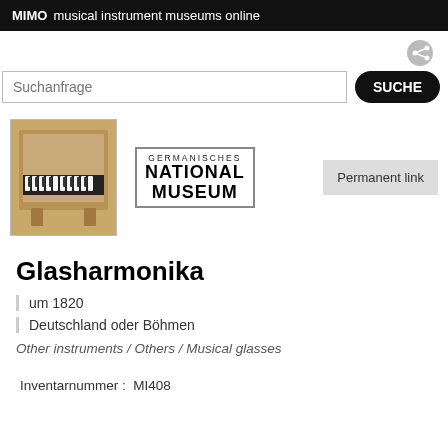MIMO musical instrument museums online
[Figure (screenshot): Search bar with placeholder 'Suchanfrage' and a black rounded button labeled 'SUCHE']
[Figure (photo): Photo of a Glasharmonika instrument, wooden cabinet-style with keyboard, warm brown wood]
[Figure (logo): Germanisches National Museum logo in a bordered box]
Glasharmonika
um 1820
Deutschland oder Böhmen
Other instruments / Others / Musical glasses
Inventarnummer :  MI408